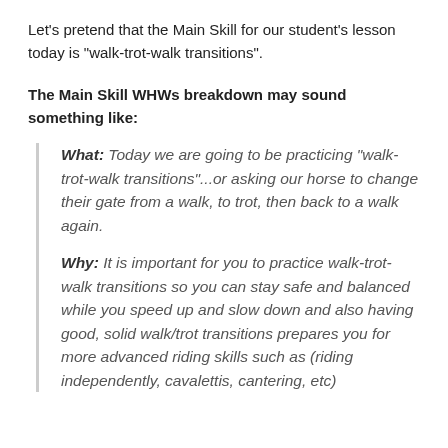Let's pretend that the Main Skill for our student's lesson today is "walk-trot-walk transitions".
The Main Skill WHWs breakdown may sound something like:
What: Today we are going to be practicing "walk-trot-walk transitions"...or asking our horse to change their gate from a walk, to trot, then back to a walk again.
Why: It is important for you to practice walk-trot-walk transitions so you can stay safe and balanced while you speed up and slow down and also having good, solid walk/trot transitions prepares you for more advanced riding skills such as (riding independently, cavalettis, cantering, etc)